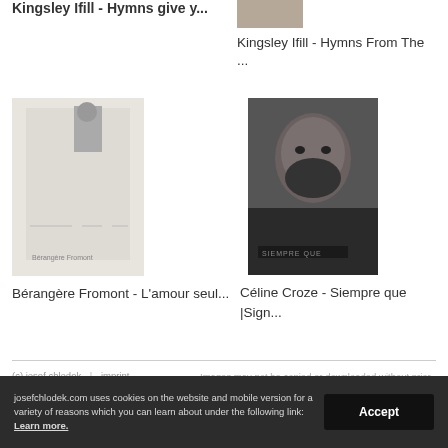Kingsley Ifill - Hymns From The ...
[Figure (photo): Grayscale thumbnail of a book cover with muted warm-gray tone]
Kingsley Ifill - Hymns From The ...
[Figure (photo): Thumbnail of a book cover 'L'amour seul...' by Bérangère Fromont, light gray tones with a figure photo]
Bérangère Fromont - L'amour seul...
[Figure (photo): Thumbnail of book cover 'Siempre Que' by Céline Croze, dark black and white photo of an elderly man's face]
Céline Croze - Siempre que |Sign...
(c) josef chlodek | imprint | Images may not be copied or downloaded without prior permission. This is a non commercial site. All copyrights ...
josefchlodek.com uses cookies on the website and mobile version for a variety of reasons which you can learn about under the following link: Learn more.